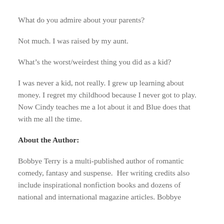What do you admire about your parents?
Not much. I was raised by my aunt.
What's the worst/weirdest thing you did as a kid?
I was never a kid, not really. I grew up learning about money. I regret my childhood because I never got to play. Now Cindy teaches me a lot about it and Blue does that with me all the time.
About the Author:
Bobbye Terry is a multi-published author of romantic comedy, fantasy and suspense.  Her writing credits also include inspirational nonfiction books and dozens of national and international magazine articles. Bobbye